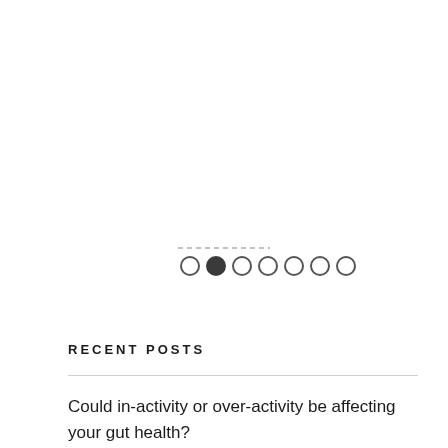[Figure (other): Carousel/slideshow dot navigation indicators — 7 circles in a row, second dot filled (active), rest are outlined. A dashed line appears above the dots.]
RECENT POSTS
Could in-activity or over-activity be affecting your gut health?